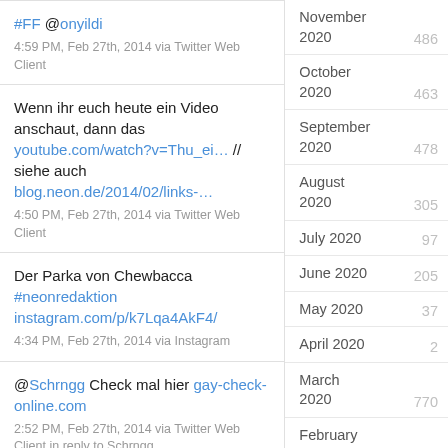#FF @onyildi
4:59 PM, Feb 27th, 2014 via Twitter Web Client
Wenn ihr euch heute ein Video anschaut, dann das youtube.com/watch?v=Thu_ei… // siehe auch blog.neon.de/2014/02/links-…
4:50 PM, Feb 27th, 2014 via Twitter Web Client
Der Parka von Chewbacca #neonredaktion instagram.com/p/k7Lqa4AkF4/
4:34 PM, Feb 27th, 2014 via Instagram
@Schrngg Check mal hier gay-check-online.com
2:52 PM, Feb 27th, 2014 via Twitter Web Client in reply to Schrngg
November 2020  486
October 2020  463
September 2020  478
August 2020  305
July 2020  97
June 2020  205
May 2020  37
April 2020  2
March 2020  770
February 2020  282
January 2020  403
December 2019  312
November